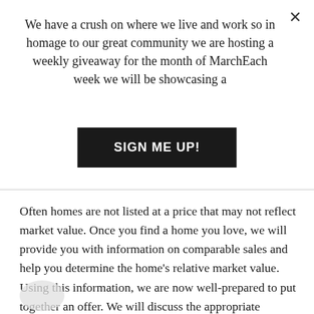We have a crush on where we live and work so in homage to our great community we are hosting a weekly giveaway for the month of MarchEach week we will be showcasing a
SIGN ME UP!
Often homes are not listed at a price that may not reflect market value. Once you find a home you love, we will provide you with information on comparable sales and help you determine the home's relative market value. Using this information, we are now well-prepared to put together an offer. We will discuss the appropriate negotiation strategy based upon your situation, the market, and any knowledge we may have about the seller.